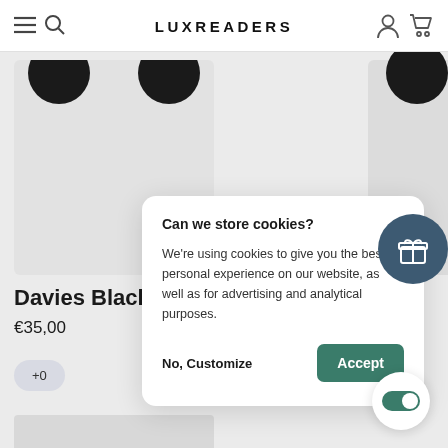LUXREADERS
[Figure (screenshot): Product listing page showing glasses product 'Davies Black' at €35,00 with a +0 variant button, and a partially visible second product on the right]
Davies Black
€35,00
+0
[Figure (screenshot): Cookie consent modal dialog with title 'Can we store cookies?', description text, 'No, Customize' link and 'Accept' button]
Can we store cookies?
We're using cookies to give you the best personal experience on our website, as well as for advertising and analytical purposes.
No, Customize
Accept